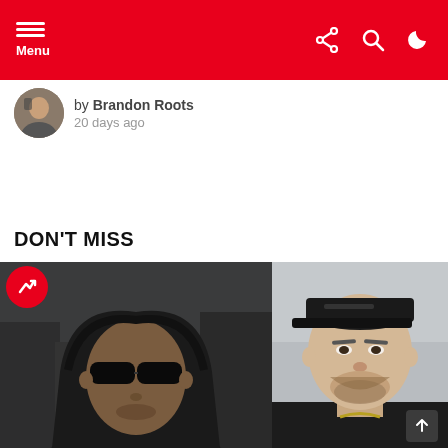Menu
by Brandon Roots
20 days ago
DON'T MISS
[Figure (photo): Side-by-side photo of two men: left photo shows a Black man wearing a black hoodie and dark sunglasses; right photo shows a white man with a beard wearing a black cap and black jacket.]